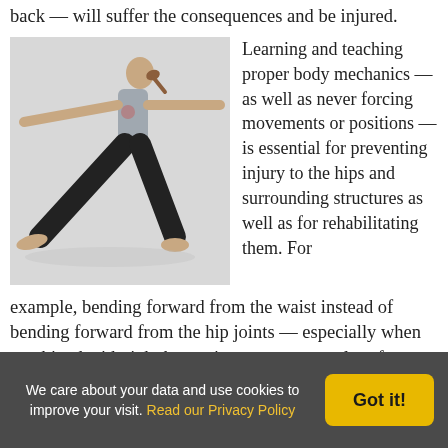back — will suffer the consequences and be injured.
[Figure (photo): Woman performing a warrior yoga pose with arms outstretched to the sides and legs in a wide lunge, wearing a patterned tank top and black pants, photographed against a light background.]
Learning and teaching proper body mechanics — as well as never forcing movements or positions — is essential for preventing injury to the hips and surrounding structures as well as for rehabilitating them. For example, bending forward from the waist instead of bending forward from the hip joints — especially when combined with tight hamstrings — can put a lot of pressure on the lumbar spine and cause injury.
Range of motion in any joint — not just in the hip — is a matter, not only of muscle flexibility, but also of the shapes of
We care about your data and use cookies to improve your visit. Read our Privacy Policy
Got it!